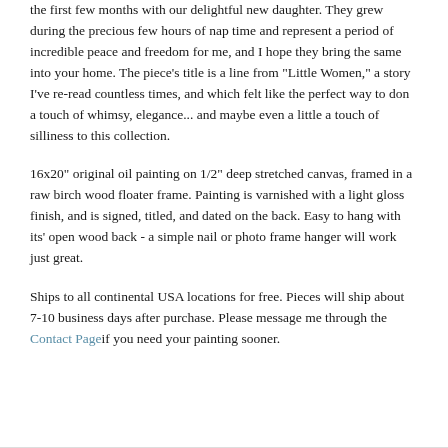the first few months with our delightful new daughter. They grew during the precious few hours of nap time and represent a period of incredible peace and freedom for me, and I hope they bring the same into your home. The piece's title is a line from "Little Women," a story I've re-read countless times, and which felt like the perfect way to don a touch of whimsy, elegance... and maybe even a little a touch of silliness to this collection.
16x20" original oil painting on 1/2" deep stretched canvas, framed in a raw birch wood floater frame. Painting is varnished with a light gloss finish, and is signed, titled, and dated on the back. Easy to hang with its' open wood back - a simple nail or photo frame hanger will work just great.
Ships to all continental USA locations for free. Pieces will ship about 7-10 business days after purchase. Please message me through the Contact Page if you need your painting sooner.